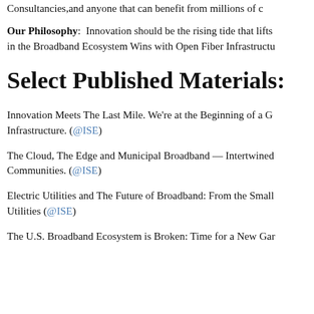Consultancies,and anyone that can benefit from millions of ...
Our Philosophy: Innovation should be the rising tide that lifts ... in the Broadband Ecosystem Wins with Open Fiber Infrastructu...
Select Published Materials:
Innovation Meets The Last Mile. We're at the Beginning of a G... Infrastructure. (@ISE)
The Cloud, The Edge and Municipal Broadband — Intertwined... Communities. (@ISE)
Electric Utilities and The Future of Broadband: From the Small... Utilities (@ISE)
The U.S. Broadband Ecosystem is Broken: Time for a New Gar...